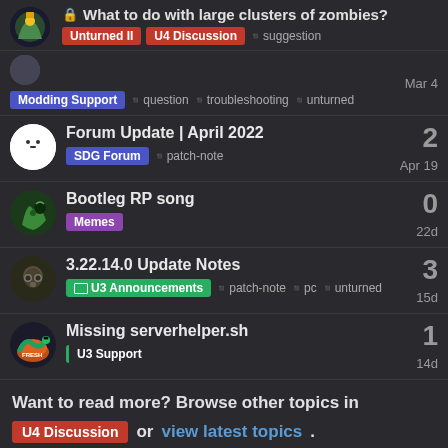What to do with large clusters of zombies? [Unturned II] [U4 Discussion] suggestion
Modding Support question troubleshooting unturned Mar 4
Forum Update | April 2022 [SDG Forum] patch-note Apr 19 — 2 replies
Bootleg RP song [Memes] 22d — 0 replies
3.22.14.0 Update Notes [U3 Announcements] patch-note pc unturned 15d — 3 replies
Missing serverhelper.sh [U3 Support] 14d — 1 reply
Want to read more? Browse other topics in U4 Discussion or view latest topics.